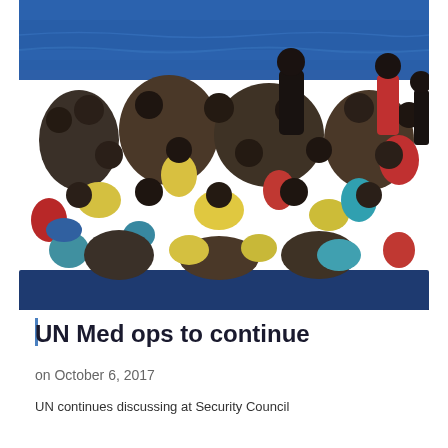[Figure (photo): Aerial or elevated view of a crowded boat at sea filled with migrants/refugees. Many people of various ages are packed tightly together on what appears to be a vessel in blue Mediterranean waters. People are wearing colorful clothing including yellow, red, blue, and other colors.]
UN Med ops to continue
on October 6, 2017
UN continues discussing at Security Council